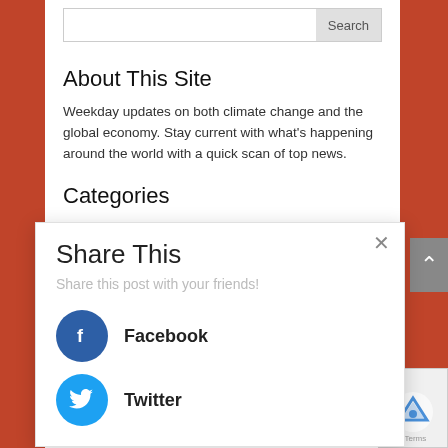[Figure (screenshot): Search bar with 'Search' button on right, on white background within a red-bordered website layout]
About This Site
Weekday updates on both climate change and the global economy. Stay current with what's happening around the world with a quick scan of top news.
Categories
[Figure (screenshot): Share This popup overlay with close button (×), subtitle 'Share this post with your friends!', Facebook button with blue circle and f icon, Twitter button with light blue circle and bird icon]
[Figure (screenshot): Gray scroll-to-top button with upward chevron arrow on right edge]
[Figure (screenshot): reCAPTCHA badge in bottom right corner showing logo and 'Terms' text]